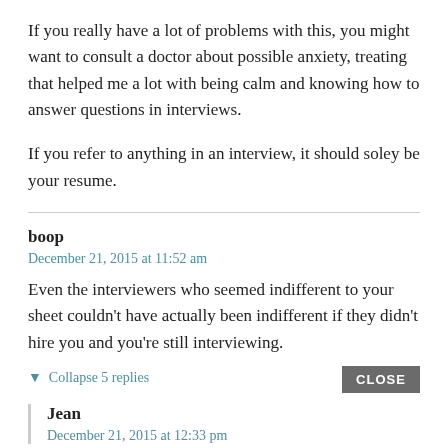If you really have a lot of problems with this, you might want to consult a doctor about possible anxiety, treating that helped me a lot with being calm and knowing how to answer questions in interviews.
If you refer to anything in an interview, it should soley be your resume.
boop
December 21, 2015 at 11:52 am
Even the interviewers who seemed indifferent to your sheet couldn't have actually been indifferent if they didn't hire you and you're still interviewing.
▼  Collapse 5 replies
CLOSE
Jean
December 21, 2015 at 12:33 pm